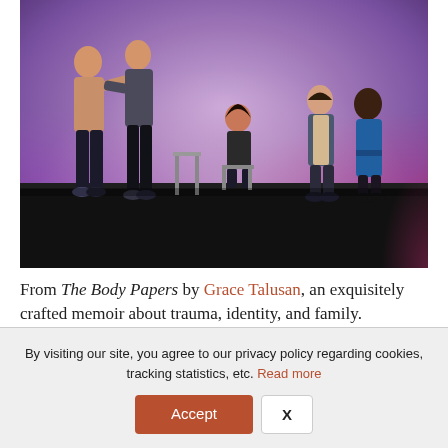[Figure (photo): Theater performance photo showing five performers on a dark stage with purple and pink lighting. On the left, two performers appear to be grappling or dancing together. Center stage, one performer sits on a chair watching. On the right, two performers stand close together. The stage has a black floor.]
From The Body Papers by Grace Talusan, an exquisitely crafted memoir about trauma, identity, and family.
By visiting our site, you agree to our privacy policy regarding cookies, tracking statistics, etc. Read more